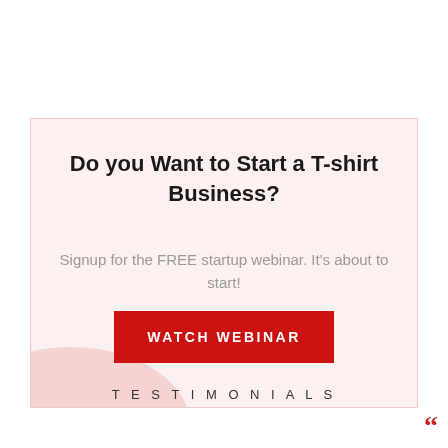Do you Want to Start a T-shirt Business?
Signup for the FREE startup webinar. It's about to start!
WATCH WEBINAR
TESTIMONIALS